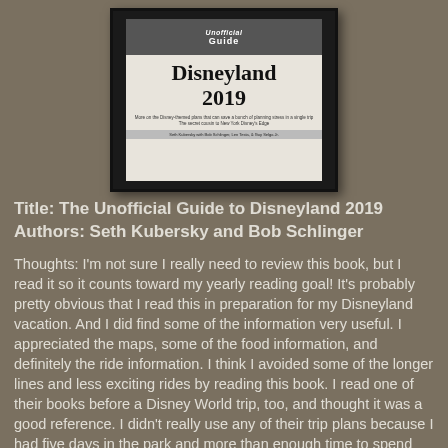[Figure (photo): Photo of the book cover 'The Unofficial Guide to Disneyland 2019' by Seth Kubersky with Bob Schlinger, Len Testa, and Guy Selga Jr., displayed on an e-reader device with a black frame.]
Title: The Unofficial Guide to Disneyland 2019
Authors: Seth Kubersky and Bob Schlinger
Thoughts: I'm not sure I really need to review this book, but I read it so it counts toward my yearly reading goal! It's probably pretty obvious that I read this in preparation for my Disneyland vacation. And I did find some of the information very useful. I appreciated the maps, some of the food information, and definitely the ride information. I think I avoided some of the longer lines and less exciting rides by reading this book. I read one of their books before a Disney World trip, too, and thought it was a good reference. I didn't really use any of their trip plans because I had five days in the park and more than enough time to spend waiting in lines without rushing around, but there was still plenty of...